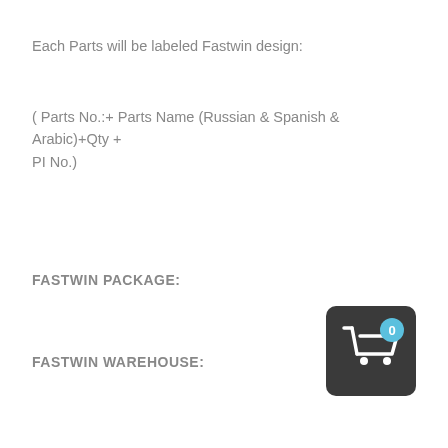Each Parts will be labeled Fastwin design:
( Parts No.:+ Parts Name (Russian & Spanish & Arabic)+Qty + PI No.)
FASTWIN PACKAGE:
[Figure (illustration): Shopping cart icon on dark rounded square background with blue badge showing '0']
FASTWIN WAREHOUSE: